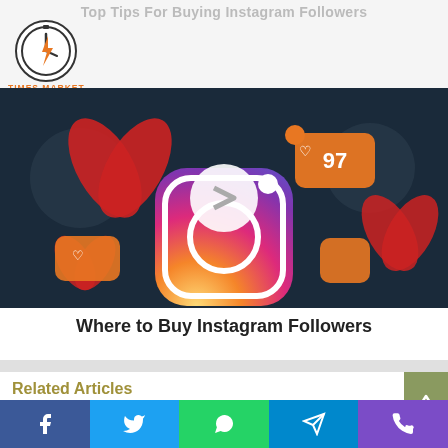Top Tips For Buying Instagram Followers
[Figure (logo): Times Market logo — circular stopwatch with lightning bolt, orange text TIMES MARKET below]
[Figure (photo): Hero image with dark background showing Instagram logo, hearts, and a play/next button overlay, social engagement theme]
Where to Buy Instagram Followers
Related Articles
[Figure (photo): Group of women standing together, related article thumbnail]
[Figure (photo): Close-up of smiling woman, related article thumbnail]